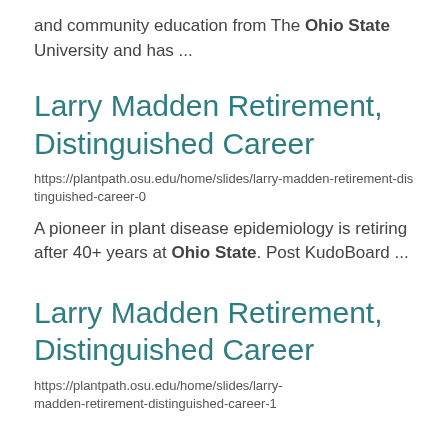and community education from The Ohio State University and has ...
Larry Madden Retirement, Distinguished Career
https://plantpath.osu.edu/home/slides/larry-madden-retirement-distinguished-career-0
A pioneer in plant disease epidemiology is retiring after 40+ years at Ohio State. Post KudoBoard ...
Larry Madden Retirement, Distinguished Career
https://plantpath.osu.edu/home/slides/larry-madden-retirement-distinguished-career-1